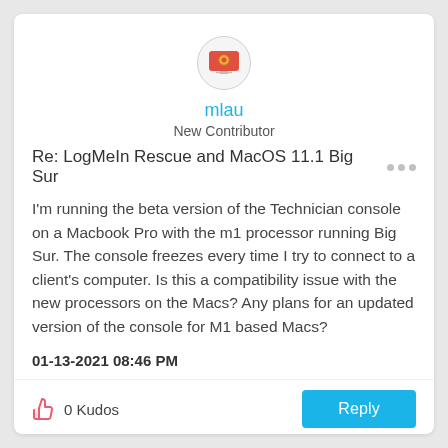[Figure (illustration): User avatar icon with a red/orange background showing a stylized badge or icon, circular frame]
mlau
New Contributor
Re: LogMeIn Rescue and MacOS 11.1 Big Sur
I'm running the beta version of the Technician console on a Macbook Pro with the m1 processor running Big Sur. The console freezes every time I try to connect to a client's computer. Is this a compatibility issue with the new processors on the Macs? Any plans for an updated version of the console for M1 based Macs?
01-13-2021 08:46 PM
0 Kudos
Reply